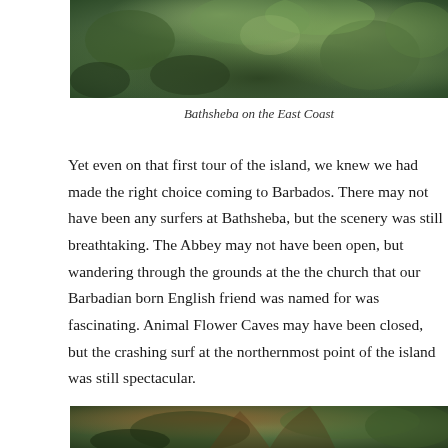[Figure (photo): Lush green tropical vegetation at Bathsheba on the East Coast of Barbados, viewed from above showing dense foliage.]
Bathsheba on the East Coast
Yet even on that first tour of the island, we knew we had made the right choice coming to Barbados. There may not have been any surfers at Bathsheba, but the scenery was still breathtaking. The Abbey may not have been open, but wandering through the grounds at the the church that our Barbadian born English friend was named for was fascinating. Animal Flower Caves may have been closed, but the crashing surf at the northernmost point of the island was still spectacular.
[Figure (photo): Large tree with twisted branches and tropical foliage, photographed from below.]